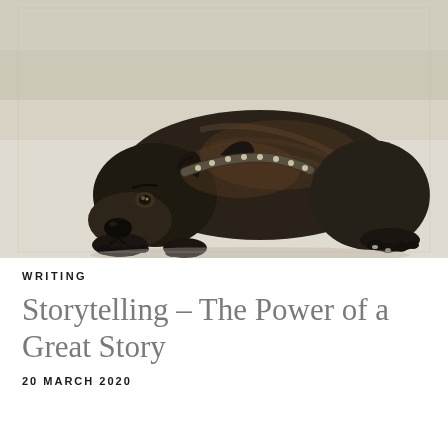[Figure (photo): A dark brindle dog with a studded collar lying on a light-colored concrete floor, looking forward with a calm, slightly sad expression.]
WRITING
Storytelling – The Power of a Great Story
20 MARCH 2020